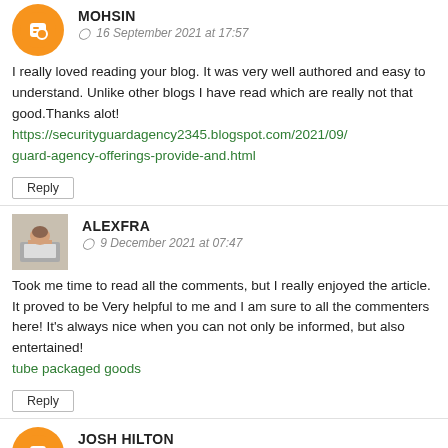MOHSIN
16 September 2021 at 17:57
I really loved reading your blog. It was very well authored and easy to understand. Unlike other blogs I have read which are really not that good.Thanks alot!
https://securityguardagency2345.blogspot.com/2021/09/guard-agency-offerings-provide-and.html
Reply
ALEXFRA
9 December 2021 at 07:47
Took me time to read all the comments, but I really enjoyed the article. It proved to be Very helpful to me and I am sure to all the commenters here! It's always nice when you can not only be informed, but also entertained!
tube packaged goods
Reply
JOSH HILTON
31 December 2021 at 17:26
Boost your website's rankings today. Buy the highest quality backlinks from SEO London agency. Proven